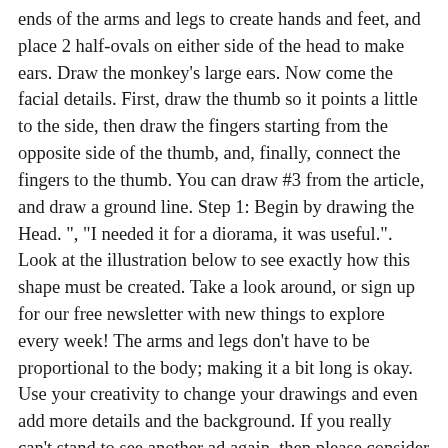ends of the arms and legs to create hands and feet, and place 2 half-ovals on either side of the head to make ears. Draw the monkey's large ears. Now come the facial details. First, draw the thumb so it points a little to the side, then draw the fingers starting from the opposite side of the thumb, and, finally, connect the fingers to the thumb. You can draw #3 from the article, and draw a ground line. Step 1: Begin by drawing the Head. ", "I needed it for a diorama, it was useful.". Look at the illustration below to see exactly how this shape must be created. Take a look around, or sign up for our free newsletter with new things to explore every week! The arms and legs don't have to be proportional to the body; making it a bit long is okay. Use your creativity to change your drawings and even add more details and the background. If you really can't stand to see another ad again, then please consider supporting our work with a contribution to wikiHow. Step by step tutorial, teach you how to draw this little monkey, very simple. It's time for monkey business! Just add wavy lines coming out of the face. The following 6 steps will show you how to draw the Monkey. Step 5: Draw a few curved lines that connect the major shapes to form the monkey's body. How To Draw A Green Monkey. A simple guide that can be checked by kids or beginners